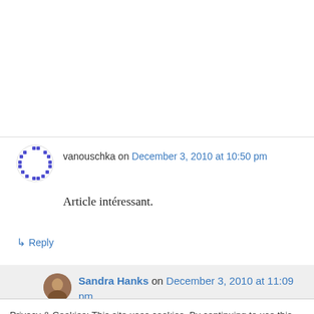vanouschka on December 3, 2010 at 10:50 pm
Article intéressant.
↳ Reply
Sandra Hanks on December 3, 2010 at 11:09 pm
Privacy & Cookies: This site uses cookies. By continuing to use this website, you agree to their use. To find out more, including how to control cookies, see here: Cookie Policy